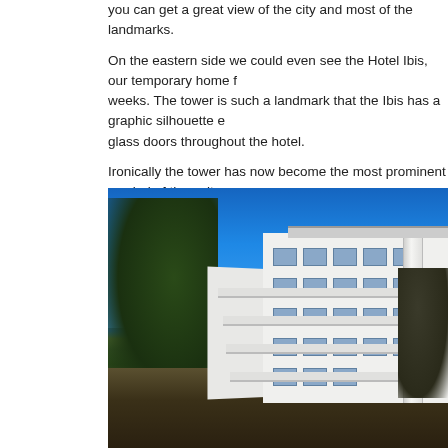you can get a great view of the city and most of the landmarks.
On the eastern side we could even see the Hotel Ibis, our temporary home f weeks. The tower is such a landmark that the Ibis has a graphic silhouette e glass doors throughout the hotel.
Ironically the tower has now become the most prominent symbol of the unite
[Figure (photo): Photograph of a white modernist apartment building with multiple floors and balconies, seen from a low angle. Large trees frame the left side of the image. Blue sky in the background. A vertical tower/elevator shaft element is visible on the right side of the building.]